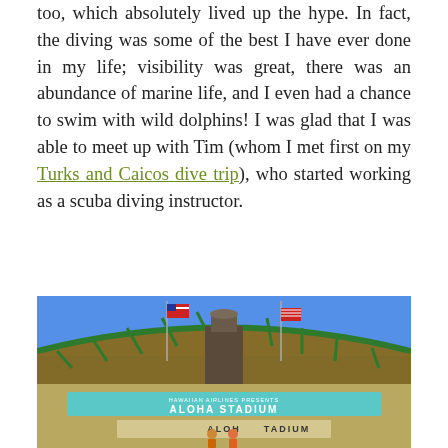too, which absolutely lived up the hype. In fact, the diving was some of the best I have ever done in my life; visibility was great, there was an abundance of marine life, and I even had a chance to swim with wild dolphins! I was glad that I was able to meet up with Tim (whom I met first on my Turks and Caicos dive trip), who started working as a scuba diving instructor.
[Figure (photo): Photo of Aloha Stadium exterior showing the stadium facade with 'ALOHA STADIUM' signage on a light blue banner, flags on poles, green structural supports, and two people standing in front. Clear blue sky in background.]